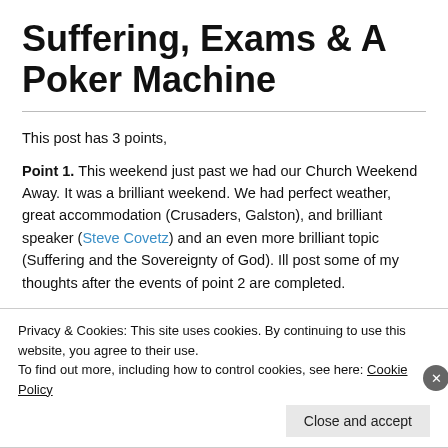Suffering, Exams & A Poker Machine
This post has 3 points,
Point 1. This weekend just past we had our Church Weekend Away. It was a brilliant weekend. We had perfect weather, great accommodation (Crusaders, Galston), and brilliant speaker (Steve Covetz) and an even more brilliant topic (Suffering and the Sovereignty of God). Ill post some of my thoughts after the events of point 2 are completed.
Privacy & Cookies: This site uses cookies. By continuing to use this website, you agree to their use.
To find out more, including how to control cookies, see here: Cookie Policy
Close and accept